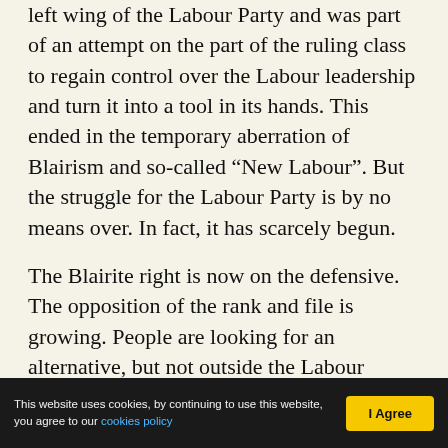left wing of the Labour Party and was part of an attempt on the part of the ruling class to regain control over the Labour leadership and turn it into a tool in its hands. This ended in the temporary aberration of Blairism and so-called “New Labour”. But the struggle for the Labour Party is by no means over. In fact, it has scarcely begun.
The Blairite right is now on the defensive. The opposition of the rank and file is growing. People are looking for an alternative, but not outside the Labour Party. If we had succeeded in keeping our forces together, building on the gains of the past, we would now be in a much stronger position to take advantage of the big possibilities that will
This website uses cookies, by continuing to use this website, you agree to our cookies policy  |  I Agree